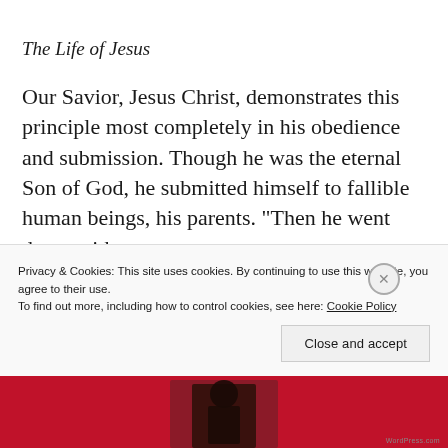The Life of Jesus
Our Savior, Jesus Christ, demonstrates this principle most completely in his obedience and submission. Though he was the eternal Son of God, he submitted himself to fallible human beings, his parents. “Then he went down with
Privacy & Cookies: This site uses cookies. By continuing to use this website, you agree to their use.
To find out more, including how to control cookies, see here: Cookie Policy
Close and accept
[Figure (photo): Dark red/crimson background image strip at the bottom of the page with a silhouette figure]